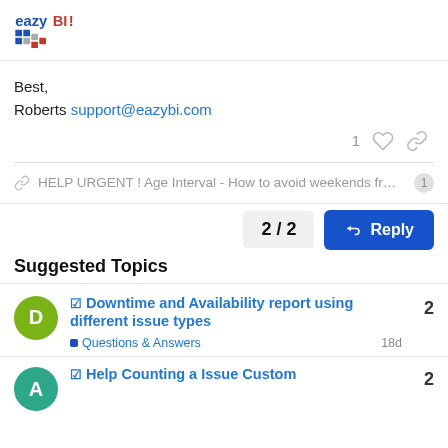[Figure (logo): eazyBI logo with colorful dot grid pattern and blue/red text]
Best,
Roberts support@eazybi.com
1 ♡ 🔗
🔗 HELP URGENT ! Age Interval - How to avoid weekends fr... 1
2 / 2
↩ Reply
Suggested Topics
☑ Downtime and Availability report using different issue types
■ Questions & Answers   18d   2
☑ Help Counting a Issue Custom